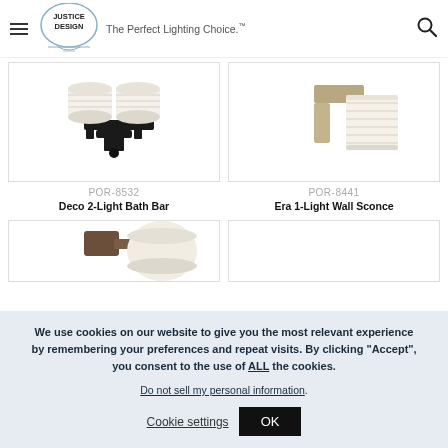[Figure (logo): Justice Design logo with circle and tagline 'The Perfect Lighting Choice.']
[Figure (photo): Deco 2-Light Bath Bar product photo showing two-light black bath bar fixture with ribbed glass shades]
POR-8532
Deco 2-Light Bath Bar
[Figure (photo): Era 1-Light Wall Sconce product photo showing single-light wall sconce with ribbed cylindrical glass shade]
POR-8441
Era 1-Light Wall Sconce
[Figure (photo): Partial product photo of a wall light fixture with brown/bronze finish and round frosted glass shade]
We use cookies on our website to give you the most relevant experience by remembering your preferences and repeat visits. By clicking “Accept”, you consent to the use of ALL the cookies.
Do not sell my personal information.
Cookie settings
OK